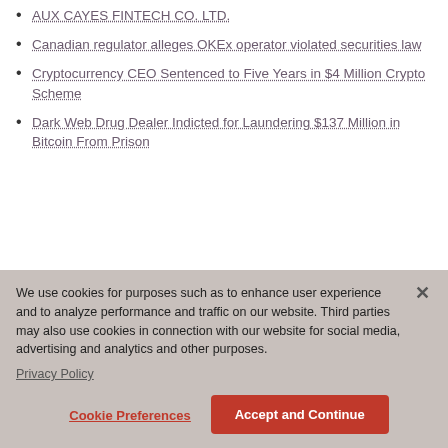AUX CAYES FINTECH CO. LTD.
Canadian regulator alleges OKEx operator violated securities law
Cryptocurrency CEO Sentenced to Five Years in $4 Million Crypto Scheme
Dark Web Drug Dealer Indicted for Laundering $137 Million in Bitcoin From Prison
We use cookies for purposes such as to enhance user experience and to analyze performance and traffic on our website. Third parties may also use cookies in connection with our website for social media, advertising and analytics and other purposes.
Privacy Policy
Cookie Preferences
Accept and Continue